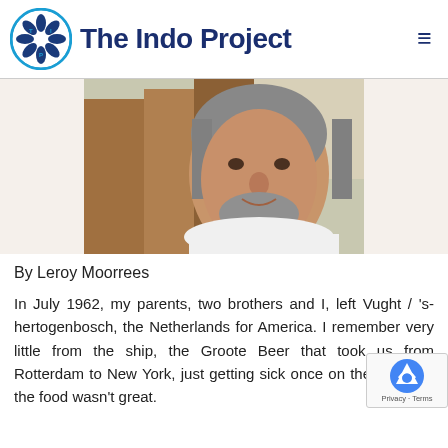The Indo Project
[Figure (photo): Portrait photo of a middle-aged man with gray-streaked hair and beard, wearing a white shirt, standing near pine trees outdoors.]
By Leroy Moorrees
In July 1962, my parents, two brothers and I, left Vught / 's-hertogenbosch, the Netherlands for America. I remember very little from the ship, the Groote Beer that took us from Rotterdam to New York, just getting sick once on the ship and the food wasn't great.